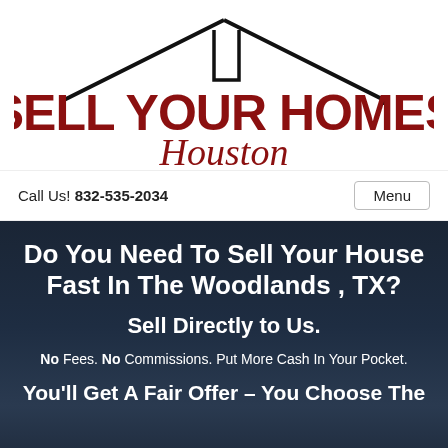[Figure (logo): Sell Your Homes Houston logo with house roof outline and dark red bold text]
Call Us! 832-535-2034
Menu
Do You Need To Sell Your House Fast In The Woodlands , TX?
Sell Directly to Us.
No Fees. No Commissions. Put More Cash In Your Pocket.
You'll Get A Fair Offer – You Choose The